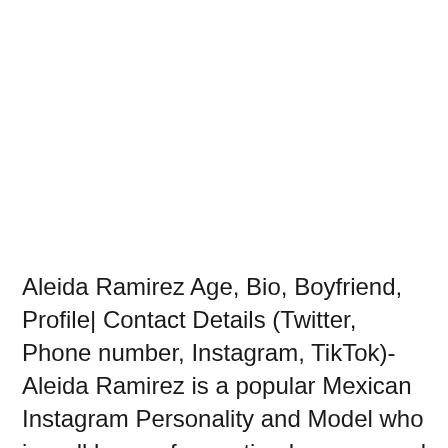Aleida Ramirez Age, Bio, Boyfriend, Profile| Contact Details (Twitter, Phone number, Instagram, TikTok)- Aleida Ramirez is a popular Mexican Instagram Personality and Model who is well known for posting her sexy and bold pictures to her account. She has posted her pictures or videos to her Instagram account and has amassed the number of followers. Aleida is a...